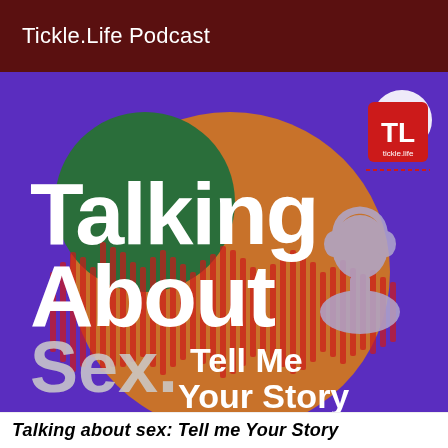Tickle.Life Podcast
[Figure (illustration): Podcast cover art for 'Talking About Sex: Tell Me Your Story' by Tickle.Life. Purple background with large orange/golden circle, dark green overlapping circle, audio waveform bars, silhouette of a person with headphones, and white bold text reading 'Talking About Sex: Tell Me Your Story'. A Tickle.Life logo badge appears in the upper right corner.]
Talking about sex: Tell me Your Story